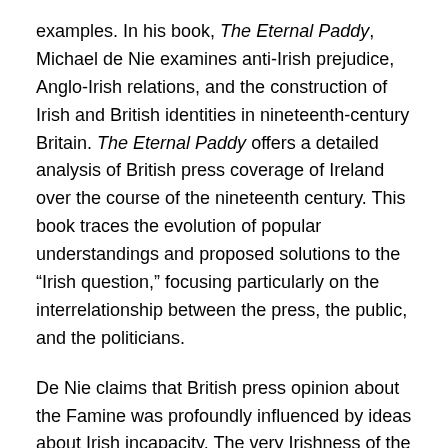examples. In his book, The Eternal Paddy, Michael de Nie examines anti-Irish prejudice, Anglo-Irish relations, and the construction of Irish and British identities in nineteenth-century Britain. The Eternal Paddy offers a detailed analysis of British press coverage of Ireland over the course of the nineteenth century. This book traces the evolution of popular understandings and proposed solutions to the “Irish question,” focusing particularly on the interrelationship between the press, the public, and the politicians.
De Nie claims that British press opinion about the Famine was profoundly influenced by ideas about Irish incapacity. The very Irishness of the Irish was the reason for their problems. The remedy was to encourage the Irish to be more British. Ireland needed to become a country of industrious, well-fed farmers, free of peasant superstition